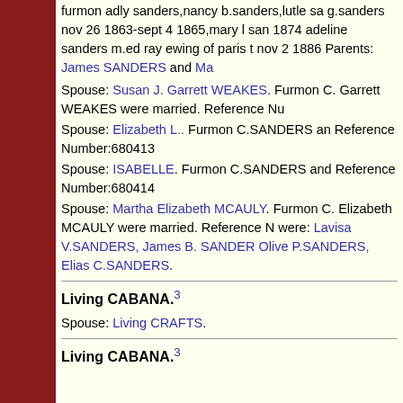furmon adly sanders,nancy b.sanders,lutle sa g.sanders nov 26 1863-sept 4 1865,mary l san 1874 adeline sanders m.ed ray ewing of paris t nov 2 1886 Parents: James SANDERS and Ma
Spouse: Susan J. Garrett WEAKES. Furmon C. Garrett WEAKES were married. Reference Nu
Spouse: Elizabeth L.. Furmon C.SANDERS an Reference Number:680413
Spouse: ISABELLE. Furmon C.SANDERS and Reference Number:680414
Spouse: Martha Elizabeth MCAULY. Furmon C Elizabeth MCAULY were married. Reference N were: Lavisa V.SANDERS, James B. SANDER Olive P.SANDERS, Elias C.SANDERS.
Living CABANA.³
Spouse: Living CRAFTS.
Living CABANA.³